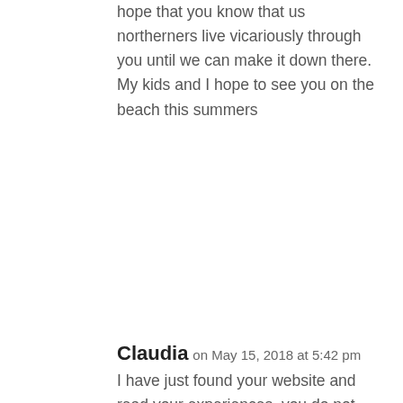hope that you know that us northerners live vicariously through you until we can make it down there. My kids and I hope to see you on the beach this summers
Reply
Claudia on May 15, 2018 at 5:42 pm
I have just found your website and read your experiences, you do not mention if you were paid any money for the work? Because if you were not then who in their right mind would expect you to have put not only all them hours into collecting the shells but also designing and sticking them for nothing!!!!! Either way, I feel your pain I have been treated badly by the government where I live so you get my full sympathies!